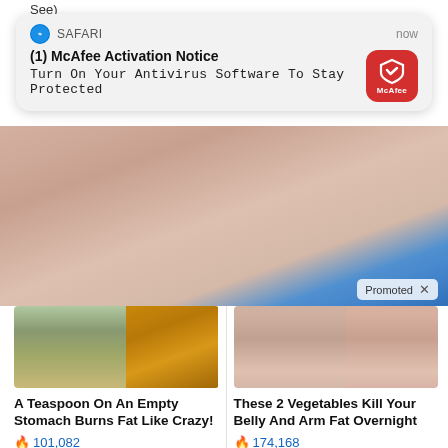See)
[Figure (screenshot): Safari push notification card from McAfee: '(1) McAfee Activation Notice — Turn On Your Antivirus Software To Stay Protected', with McAfee red icon, labeled 'now']
[Figure (photo): Close-up photo of fingers holding a blue pill/tablet with embossed text, with a 'Promoted X' badge overlay]
[Figure (photo): Ad thumbnail: woman with slim stomach next to a pile of yellow spice powder]
A Teaspoon On An Empty Stomach Burns Fat Like Crazy!
🔥 101,082
[Figure (photo): Ad thumbnail: before and after back view of a woman in black sports bra showing weight loss]
These 2 Vegetables Kill Your Belly And Arm Fat Overnight
🔥 174,168